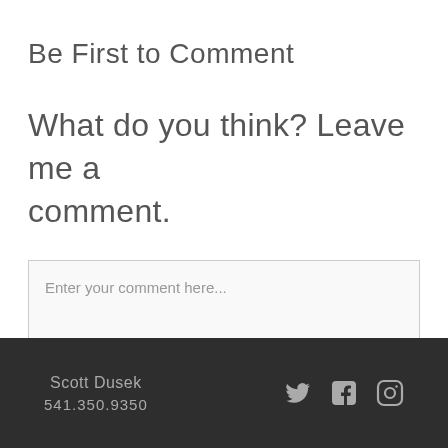Be First to Comment
What do you think? Leave me a comment.
Enter your comment here...
Scott Dusek
541.350.9350